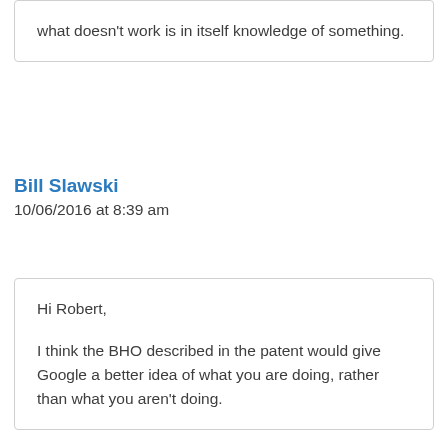what doesn't work is in itself knowledge of something.
Bill Slawski
10/06/2016 at 8:39 am
Hi Robert,

I think the BHO described in the patent would give Google a better idea of what you are doing, rather than what you aren't doing.